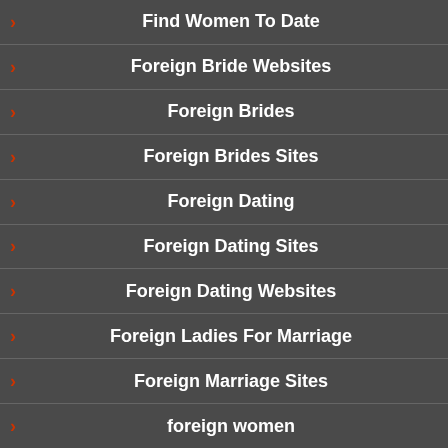Find Women To Date
Foreign Bride Websites
Foreign Brides
Foreign Brides Sites
Foreign Dating
Foreign Dating Sites
Foreign Dating Websites
Foreign Ladies For Marriage
Foreign Marriage Sites
foreign women